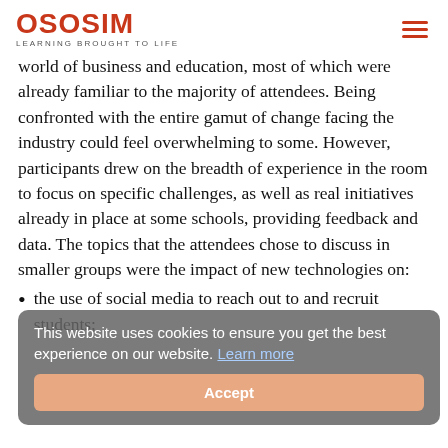OSOSIM — LEARNING BROUGHT TO LIFE
world of business and education, most of which were already familiar to the majority of attendees. Being confronted with the entire gamut of change facing the industry could feel overwhelming to some. However, participants drew on the breadth of experience in the room to focus on specific challenges, as well as real initiatives already in place at some schools, providing feedback and data. The topics that the attendees chose to discuss in smaller groups were the impact of new technologies on:
the use of social media to reach out to and recruit students;
effectively and efficiently evaluating and assessing talent and performance;